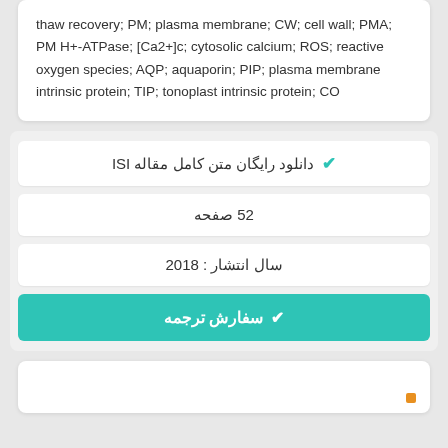thaw recovery; PM; plasma membrane; CW; cell wall; PMA; PM H+-ATPase; [Ca2+]c; cytosolic calcium; ROS; reactive oxygen species; AQP; aquaporin; PIP; plasma membrane intrinsic protein; TIP; tonoplast intrinsic protein; CO
✔ دانلود رایگان متن کامل مقاله ISI
52 صفحه
سال انتشار : 2018
✔ سفارش ترجمه